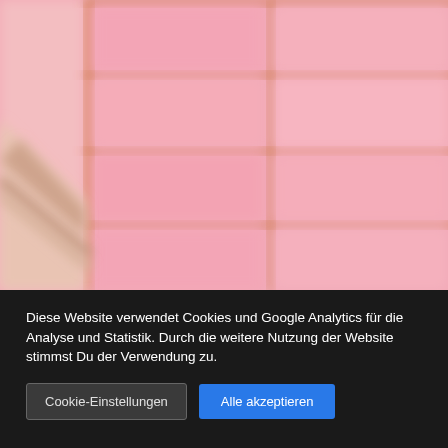[Figure (photo): Blurry close-up photo of a pink and orange grid/lattice structure (possibly Japanese shoji screen or building facade) with a diagonal rail or edge element in the lower left. The overall tone is soft pink and peachy orange.]
Diese Website verwendet Cookies und Google Analytics für die Analyse und Statistik. Durch die weitere Nutzung der Website stimmst Du der Verwendung zu.
Cookie-Einstellungen
Alle akzeptieren